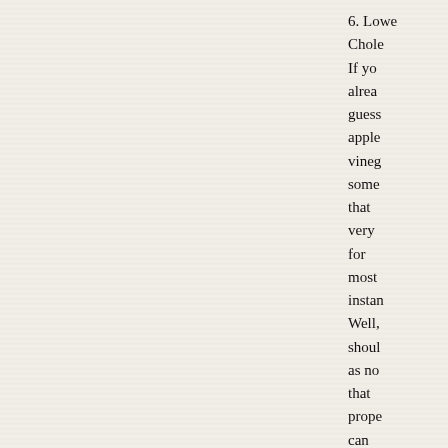6. Lowers Cholesterol If you already guess, apple cider vinegar some that very for most instance Well, should as no that prope can help your chole and h